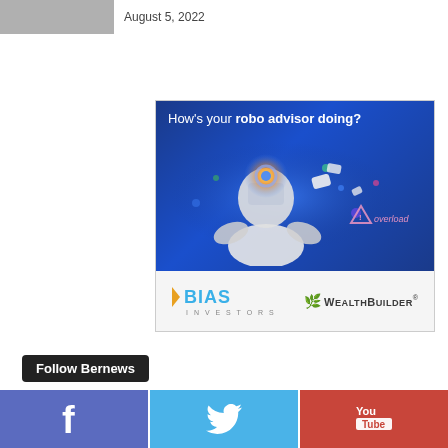August 5, 2022
[Figure (illustration): Advertisement for BIAS Investors WealthBuilder robo advisor service. Dark blue background with a robot illustration and text 'How's your robo advisor doing?' with an overload warning graphic. Bottom bar shows BIAS INVESTORS logo and WealthBuilder logo.]
Follow Bernews
[Figure (infographic): Three social media buttons: Facebook (blue/purple), Twitter (light blue), YouTube (red) with respective icons.]